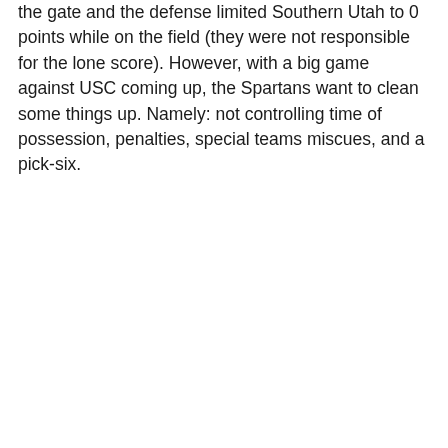the gate and the defense limited Southern Utah to 0 points while on the field (they were not responsible for the lone score). However, with a big game against USC coming up, the Spartans want to clean some things up. Namely: not controlling time of possession, penalties, special teams miscues, and a pick-six.